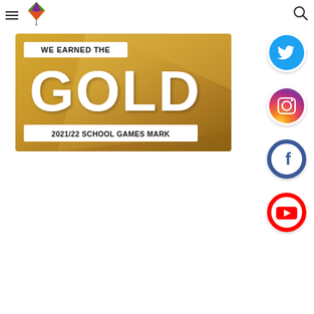[Figure (logo): School logo with colorful kite/diamond shape icon]
[Figure (illustration): Gold School Games Mark 2021/22 banner - golden background with text WE EARNED THE GOLD 2021/22 SCHOOL GAMES MARK]
[Figure (illustration): Twitter social media icon - blue circle with white bird logo]
[Figure (illustration): Instagram social media icon - gradient pink/purple/orange circle with camera logo]
[Figure (illustration): Facebook social media icon - blue/white circle with F logo]
[Figure (illustration): YouTube social media icon - red/white circle with play button logo]